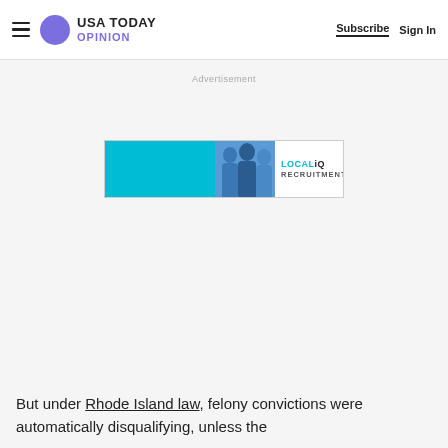USA TODAY OPINION — Subscribe | Sign In
Advertisement
[Figure (other): LOCALiQ Recruitment advertisement banner with blue background and silhouettes of people]
But under Rhode Island law, felony convictions were automatically disqualifying, unless the